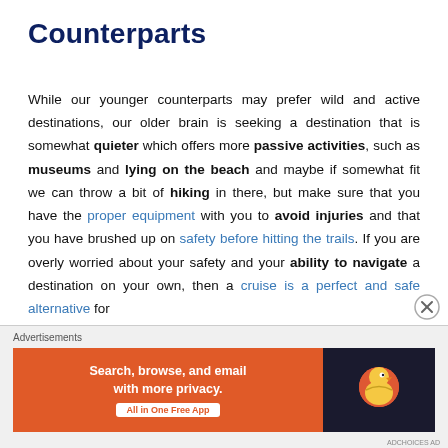Counterparts
While our younger counterparts may prefer wild and active destinations, our older brain is seeking a destination that is somewhat quieter which offers more passive activities, such as museums and lying on the beach and maybe if somewhat fit we can throw a bit of hiking in there, but make sure that you have the proper equipment with you to avoid injuries and that you have brushed up on safety before hitting the trails. If you are overly worried about your safety and your ability to navigate a destination on your own, then a cruise is a perfect and safe alternative for
[Figure (other): Advertisement banner for DuckDuckGo: 'Search, browse, and email with more privacy. All in One Free App' with DuckDuckGo logo on dark background.]